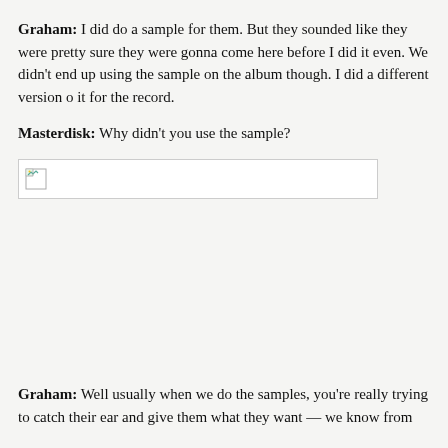Graham: I did do a sample for them. But they sounded like they were pretty sure they were gonna come here before I did it even. We didn't end up using the sample on the album though. I did a different version of it for the record.
Masterdisk: Why didn't you use the sample?
[Figure (photo): A broken/missing image placeholder icon in a bordered rectangle]
Graham: Well usually when we do the samples, you're really trying to catch their ear and give them what they want — we know from